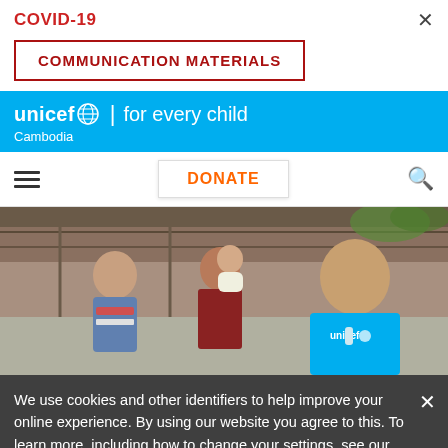COVID-19
COMMUNICATION MATERIALS
[Figure (logo): UNICEF logo with 'for every child' tagline and 'Cambodia' subtitle on a cyan/blue background banner]
DONATE
[Figure (photo): Photo of a young girl in denim jacket seated next to a woman holding a baby, and a UNICEF worker in blue UNICEF t-shirt, in an indoor/outdoor community setting]
We use cookies and other identifiers to help improve your online experience. By using our website you agree to this. To learn more, including how to change your settings, see our cookies policy.